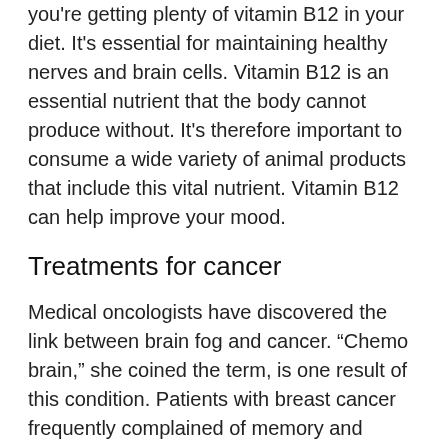you're getting plenty of vitamin B12 in your diet. It's essential for maintaining healthy nerves and brain cells. Vitamin B12 is an essential nutrient that the body cannot produce without. It's therefore important to consume a wide variety of animal products that include this vital nutrient. Vitamin B12 can help improve your mood.
Treatments for cancer
Medical oncologists have discovered the link between brain fog and cancer. “Chemo brain,” she coined the term, is one result of this condition. Patients with breast cancer frequently complained of memory and concentration problems, and many of them believed that their cancer treatments were to blame. This is often not true. Here are some cancer treatments for brain fog (Skip to the end of the list to learn…